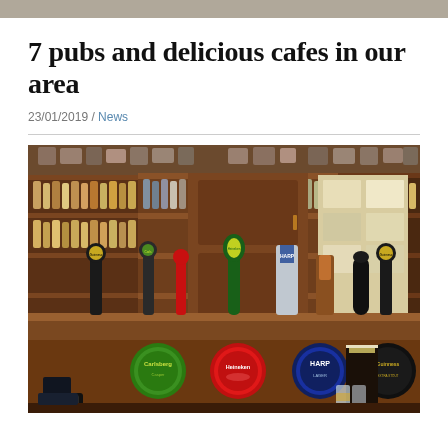7 pubs and delicious cafes in our area
23/01/2019 / News
[Figure (photo): Interior of a pub bar showing beer taps including Carlsberg, Guinness, Heineken, Harp branded pumps on a wooden bar counter, with shelves of bottles in the background and a pint of Guinness on the counter.]